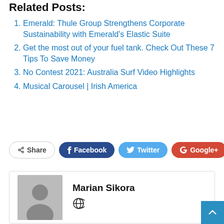Related Posts:
Emerald: Thule Group Strengthens Corporate Sustainability with Emerald's Elastic Suite
Get the most out of your fuel tank. Check Out These 7 Tips To Save Money
No Contest 2021: Australia Surf Video Highlights
Musical Carousel | Irish America
[Figure (infographic): Social share bar with Share, Facebook, Twitter, Google+, and plus (+) buttons]
[Figure (infographic): Author box with avatar placeholder and name Marian Sikora and a globe/world icon]